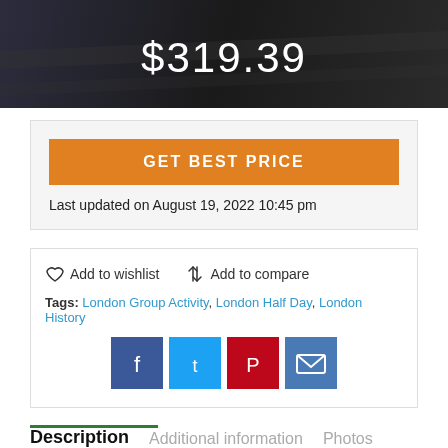[Figure (photo): Dark/night background image banner showing price $319.39 in white text]
$319.39
GET BEST PRICE
Last updated on August 19, 2022 10:45 pm
♡ Add to wishlist   ⇄ Add to compare
Tags: London Group Activity, London Half Day, London History
[Figure (infographic): Social share icons: Facebook (dark blue), Twitter (light blue), Pinterest (red), Email (steel blue)]
Description
Additional information
Photos